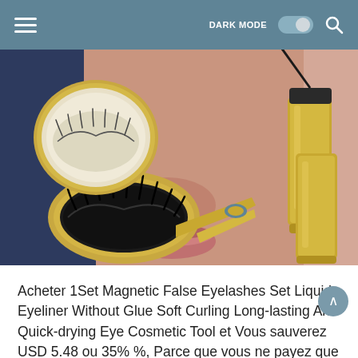DARK MODE [toggle] [search]
[Figure (photo): Product photo of a magnetic false eyelashes set in a gold compact case with false lashes visible, gold applicator tweezers, and a gold liquid eyeliner tube with black wand. A woman's face (lips and nose) is visible in the background.]
Acheter 1Set Magnetic False Eyelashes Set Liquid Eyeliner Without Glue Soft Curling Long-lasting And Quick-drying Eye Cosmetic Tool et Vous sauverez  USD 5.48 ou 35% %, Parce que vous ne payez que pour  10.18 pas plein prix pour  15.66